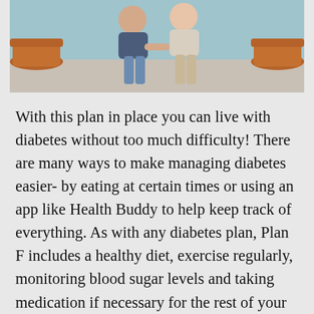[Figure (photo): Photo of two people (a couple) sitting together outdoors, with terracotta pots on either side. Background shows a teal/blue wall.]
With this plan in place you can live with diabetes without too much difficulty! There are many ways to make managing diabetes easier- by eating at certain times or using an app like Health Buddy to help keep track of everything. As with any diabetes plan, Plan F includes a healthy diet, exercise regularly, monitoring blood sugar levels and taking medication if necessary for the rest of your life. With this plan in place you can live with diabetes without too much difficulty! There are many ways to make managing diabetic easier- by eating at certain times or using an app like Health Buddy to help keep track of everything.